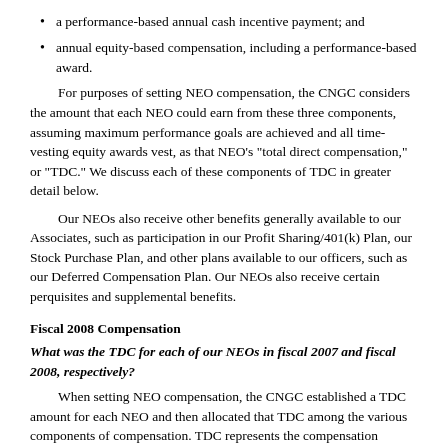a performance-based annual cash incentive payment; and
annual equity-based compensation, including a performance-based award.
For purposes of setting NEO compensation, the CNGC considers the amount that each NEO could earn from these three components, assuming maximum performance goals are achieved and all time-vesting equity awards vest, as that NEO's "total direct compensation," or "TDC." We discuss each of these components of TDC in greater detail below.
Our NEOs also receive other benefits generally available to our Associates, such as participation in our Profit Sharing/401(k) Plan, our Stock Purchase Plan, and other plans available to our officers, such as our Deferred Compensation Plan. Our NEOs also receive certain perquisites and supplemental benefits.
Fiscal 2008 Compensation
What was the TDC for each of our NEOs in fiscal 2007 and fiscal 2008, respectively?
When setting NEO compensation, the CNGC established a TDC amount for each NEO and then allocated that TDC among the various components of compensation. TDC represents the compensation opportunity available to an NEO for a given fiscal year if maximum performance goals are achieved. As such, TDC is designed to represent the amounts that our NEOs will receive only in the event of exceptional performance.
The Summary Compensation table that appears on page 34 provides specific compensation information for fiscal 2007 and fiscal 2008 for each of our NEOs in the manner required by SEC regulations. The amounts in the Summary